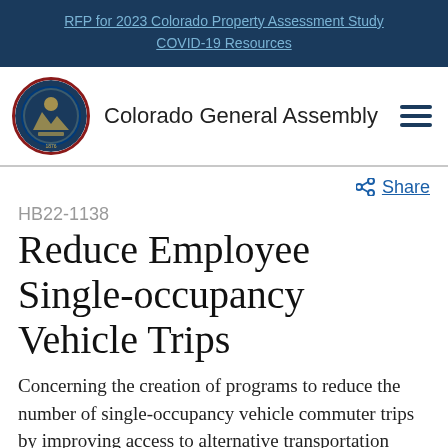RFP for 2023 Colorado Property Assessment Study
COVID-19 Resources
[Figure (logo): Colorado General Assembly logo with State of Colorado seal and hamburger menu icon]
Share
HB22-1138
Reduce Employee Single-occupancy Vehicle Trips
Concerning the creation of programs to reduce the number of single-occupancy vehicle commuter trips by improving access to alternative transportation